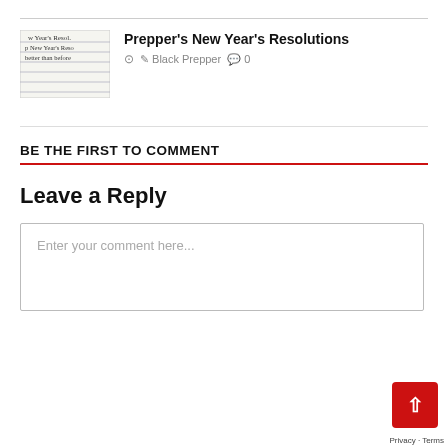[Figure (illustration): Handwritten notebook page with text about New Year's Resolutions]
Prepper's New Year's Resolutions
Black Prepper  0
BE THE FIRST TO COMMENT
Leave a Reply
Enter your comment here...